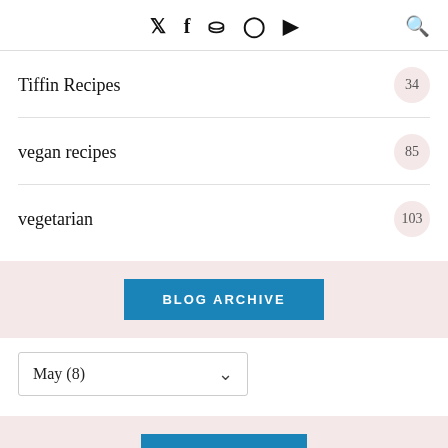Social icons: Twitter, Facebook, Pinterest, Instagram, YouTube, Search
Tiffin Recipes 34
vegan recipes 85
vegetarian 103
BLOG ARCHIVE
May (8)
PINTEREST